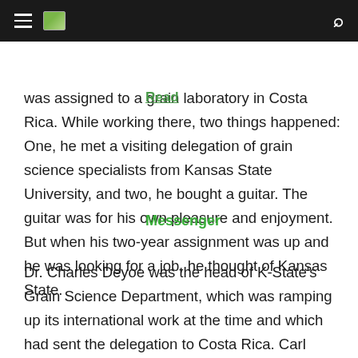[Navigation bar with hamburger menu, image icon, and search icon]
was assigned to a grain laboratory in Costa Rica. While working there, two things happened: One, he met a visiting delegation of grain science specialists from Kansas State University, and two, he bought a guitar. The guitar was for his own pleasure and enjoyment. But when his two-year assignment was up and he was looking for a job, he thought of Kansas State.
Dr. Charles Deyoe was the head of K-State's Grain Science Department, which was ramping up its international work at the time and which had sent the delegation to Costa Rica. Carl wrote to Dr. Deyoe to express interest in a job, and he was ultimately hired onto the K-State Grain